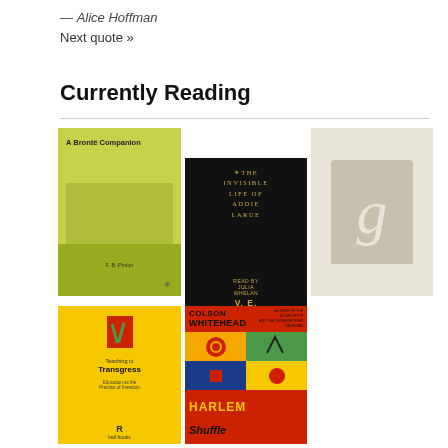— Alice Hoffman
Next quote »
Currently Reading
[Figure (illustration): Grid of book covers currently being read: A Brontë Companion (F.B. Pinion), The Invisible Life of Addie LaRue (V.E. Schwab), a Goodreads placeholder cover, Teaching to Transgress (bell hooks), and Harlem Shuffle (Colson Whitehead)]